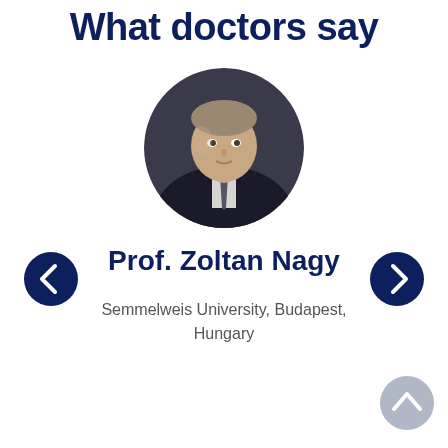What doctors say
[Figure (photo): Circular profile photo of Prof. Zoltan Nagy, a middle-aged man in a suit and tie, against a dark background.]
Prof. Zoltan Nagy
Semmelweis University, Budapest, Hungary
Watch Interview